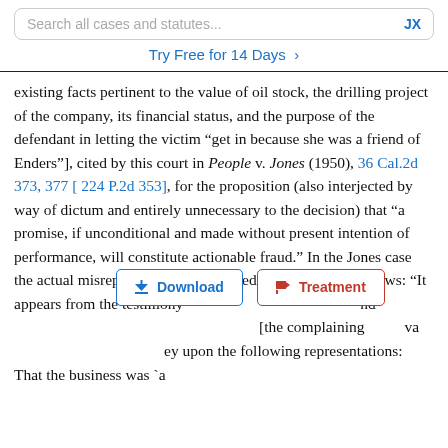Search all cases and statutes...   JX
Try Free for 14 Days >
existing facts pertinent to the value of oil stock, the drilling project of the company, its financial status, and the purpose of the defendant in letting the victim “get in because she was a friend of Enders”], cited by this court in People v. Jones (1950), 36 Cal.2d 373, 377 [ 224 P.2d 353], for the proposition (also interjected by way of dictum and entirely unnecessary to the decision) that “a promise, if unconditional and made without present intention of performance, will constitute actionable fraud.” In the Jones case the actual misrepresentations are stated by the court as follows: “It appears from the testimony nd [the complaining va ey upon the following representations: That the business was `a